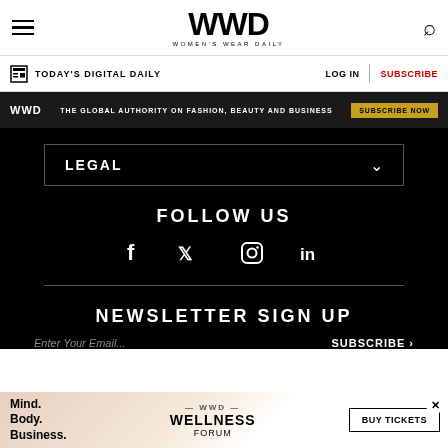WWD — Women's Wear Daily
TODAY'S DIGITAL DAILY | LOG IN | SUBSCRIBE
WWD — THE GLOBAL AUTHORITY ON FASHION, BEAUTY AND BUSINESS — SUBSCRIBE NOW
LEGAL
FOLLOW US
[Figure (infographic): Social media icons row: Facebook, Twitter, Instagram, LinkedIn]
NEWSLETTER SIGN UP
Enter Your Email... SUBSCRIBE →
[Figure (infographic): WWD Wellness Forum advertisement banner with Mind. Body. Business. text and BUY TICKETS button]